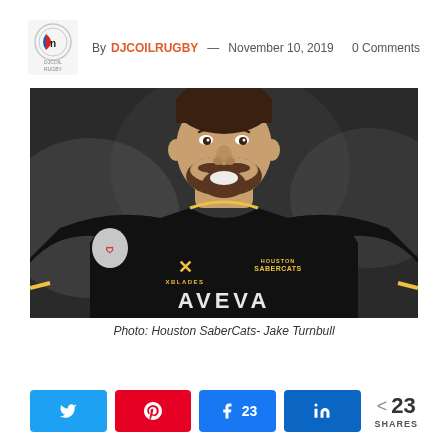By DJCOILRUGBY — November 10, 2019   0 Comments
[Figure (photo): Portrait photo of Jake Turnbull in a Houston SaberCats black jersey with yellow accents, XBLADES brand and AVEVA sponsor text visible. Smoky grey background.]
Photo: Houston SaberCats- Jake Turnbull
< 23 SHARES  [Twitter] [Pinterest] [Facebook 23] [LinkedIn]